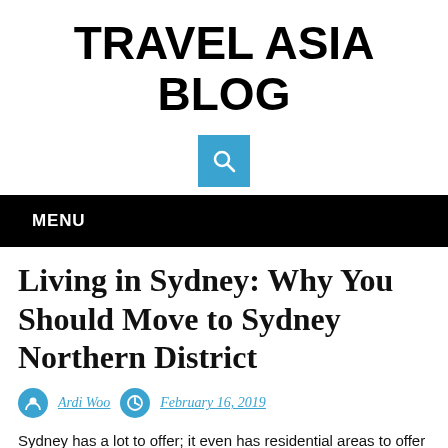TRAVEL ASIA BLOG
[Figure (other): Blue search button with magnifying glass icon]
MENU
Living in Sydney: Why You Should Move to Sydney Northern District
Ardi Woo   February 16, 2019
Sydney has a lot to offer; it even has residential areas to offer too.